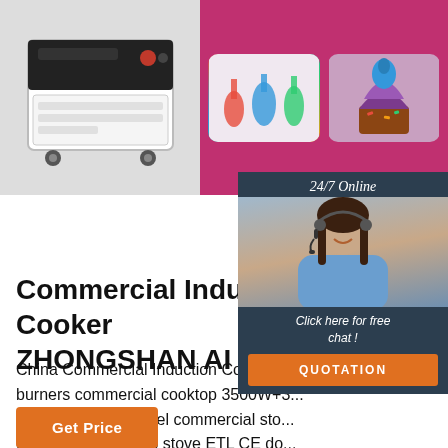[Figure (photo): Top banner with product images: left side shows a commercial induction cooker appliance on wheels (black and white machine), right side on pink/magenta background shows two images - laboratory glassware with colorful liquids and a decorated purple cupcake]
24/7 Online
[Figure (photo): Customer service representative woman wearing headset, smiling, with dark hair, in blue shirt]
Click here for free chat !
QUOTATION
Commercial Induction Cooker ZHONGSHAN AI LI PU ...
China Commercial Induction Cooker c... burners commercial cooktop 3500W+3... cooker stainless steel commercial sto... commercial cooktop stove ETL CE do... commercial kitchen appliance cooktop provided by China manufacturer - ZHONGSHAN AI LI PU ELECTRICAL APPLIANCE CO., LTD., page1
Get Price